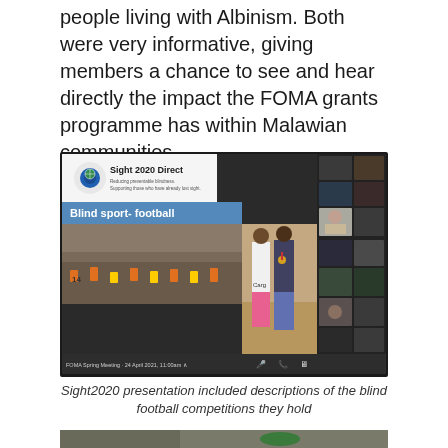people living with Albinism. Both were very informative, giving members a chance to see and hear directly the impact the FOMA grants programme has within Malawian communities.
[Figure (screenshot): Screenshot of a Zoom/video meeting showing a Sight 2020 Direct presentation about blind sport - football, with multiple participant video tiles on the right side, and a Zoom toolbar at the bottom.]
Sight2020 presentation included descriptions of the blind football competitions they hold
[Figure (photo): Partial view of another photo at the bottom of the page]